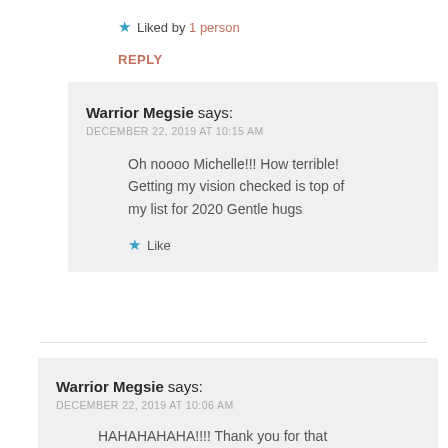★ Liked by 1 person
REPLY
Warrior Megsie says:
DECEMBER 22, 2019 AT 10:15 AM
Oh noooo Michelle!!! How terrible! Getting my vision checked is top of my list for 2020 Gentle hugs
★ Like
Warrior Megsie says:
DECEMBER 22, 2019 AT 10:06 AM
HAHAHAHAHAIIII Thank you for that